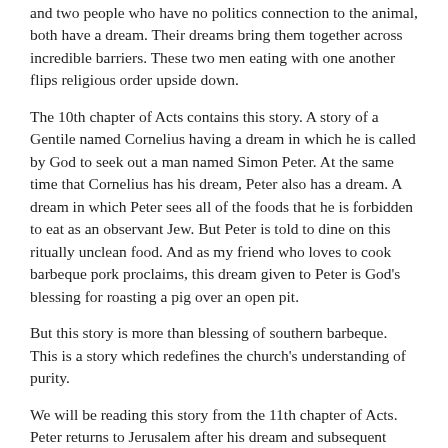and two people who have no politics connection to the animal, both have a dream. Their dreams bring them together across incredible barriers. These two men eating with one another flips religious order upside down.
The 10th chapter of Acts contains this story. A story of a Gentile named Cornelius having a dream in which he is called by God to seek out a man named Simon Peter. At the same time that Cornelius has his dream, Peter also has a dream. A dream in which Peter sees all of the foods that he is forbidden to eat as an observant Jew. But Peter is told to dine on this ritually unclean food. And as my friend who loves to cook barbeque pork proclaims, this dream given to Peter is God's blessing for roasting a pig over an open pit.
But this story is more than blessing of southern barbeque. This is a story which redefines the church's understanding of purity.
We will be reading this story from the 11th chapter of Acts. Peter returns to Jerusalem after his dream and subsequent encounter with Cornelius and has to report to the church leaders. And as we will see in the beginning of this reading, the church leaders are not happy with what Peter has done.
Read Acts 11:1-18
It was called the Irish Potato Famine or the Great Famine. It lasted from 1845 through 1849. The Great Famine resulted in over 1 million deaths